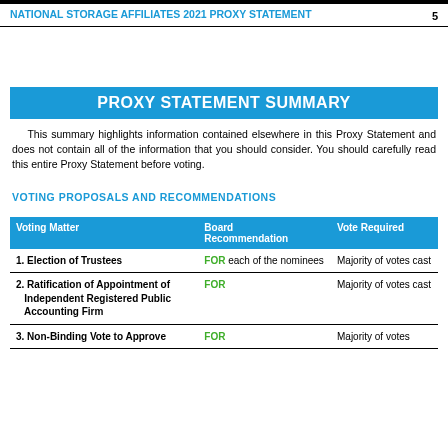NATIONAL STORAGE AFFILIATES 2021 PROXY STATEMENT   5
PROXY STATEMENT SUMMARY
This summary highlights information contained elsewhere in this Proxy Statement and does not contain all of the information that you should consider. You should carefully read this entire Proxy Statement before voting.
VOTING PROPOSALS AND RECOMMENDATIONS
| Voting Matter | Board Recommendation | Vote Required |
| --- | --- | --- |
| 1. Election of Trustees | FOR each of the nominees | Majority of votes cast |
| 2. Ratification of Appointment of Independent Registered Public Accounting Firm | FOR | Majority of votes cast |
| 3. Non-Binding Vote to Approve | FOR | Majority of votes |